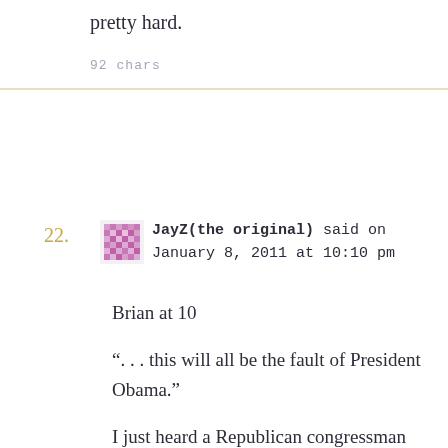pretty hard.
92 chars
22. JayZ(the original) said on January 8, 2011 at 10:10 pm

Brian at 10

“. . . this will all be the fault of President Obama.”

I just heard a Republican congressman say on NPR that the current unrest in Arizona is a result of the federal government’s failure to secure the border. Tell me that isn’t a cheap shot blaming Obama for this tragedy.